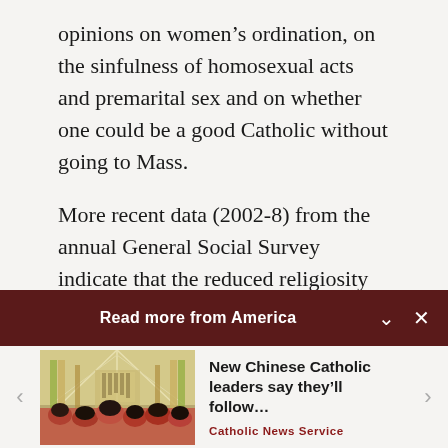opinions on women's ordination, on the sinfulness of homosexual acts and premarital sex and on whether one could be a good Catholic without going to Mass.
More recent data (2002-8) from the annual General Social Survey indicate that the reduced religiosity of American Catholic women extends to the millennial generation (born between 1981
Read more from America
[Figure (photo): Interior of a Catholic church with tall arched ceilings, ornate columns with yellow and green decorations, and a crowd of people in the foreground.]
New Chinese Catholic leaders say they'll follow...
Catholic News Service